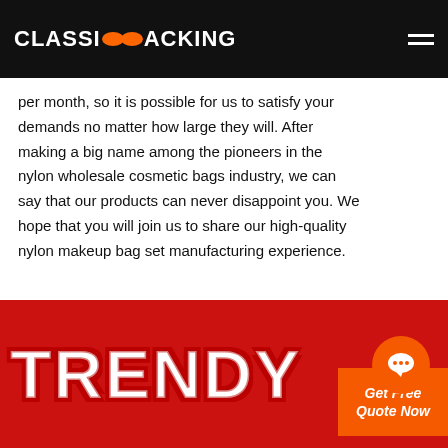CLASSIC PACKING
per month, so it is possible for us to satisfy your demands no matter how large they will. After making a big name among the pioneers in the nylon wholesale cosmetic bags industry, we can say that our products can never disappoint you. We hope that you will join us to share our high-quality nylon makeup bag set manufacturing experience.
[Figure (illustration): Orange CTA button with italic bold text 'Get Free Quote Now']
[Figure (illustration): Red CTA button with italic bold text 'Customize Your Bag Now']
[Figure (illustration): Bottom red banner with large white bold italic text 'TRENDY' partially visible, with an orange chat bubble icon overlay]